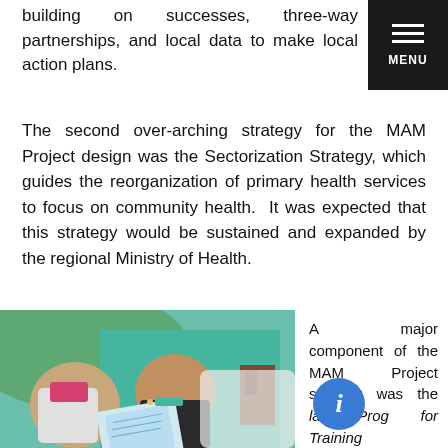building on successes, three-way partnerships, and local data to make local action plans.
[Figure (other): Black menu button in top right corner with three horizontal lines and 'MENU' label]
The second over-arching strategy for the MAM Project design was the Sectorization Strategy, which guides the reorganization of primary health services to focus on community health.  It was expected that this strategy would be sustained and expanded by the regional Ministry of Health.
[Figure (photo): Two indigenous women sitting outdoors near a teal/turquoise wall, looking at printed materials or maps. A blurred figure in white is in the foreground right.]
A major component of the MAM Project strategy was the ular Prog for Training